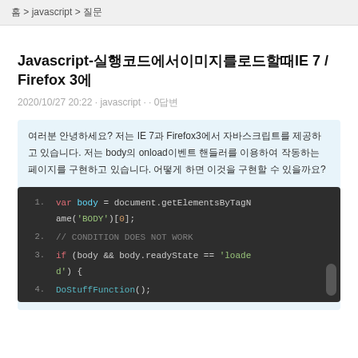홈 > javascript > 질문
Javascript-실행코드에서이미지를로드할때IE 7 / Firefox 3에
2020/10/27 20:22 · javascript · · 0답변
여러분 안녕하세요? 저는 IE 7과 Firefox3에서 자바스크립트를 제공하고 있습니다. 저는 body의 onload이벤트 핸들러를 이용하여 작동하는 페이지를 구현하고 있습니다. 어떻게 하면 이것을 구현할 수 있을까요?
[Figure (screenshot): Code block showing JavaScript snippet:
1. var body = document.getElementsByTagName('BODY')[0];
2. // CONDITION DOES NOT WORK
3. if (body && body.readyState == 'loaded') {
4. DoStuffFunction();]